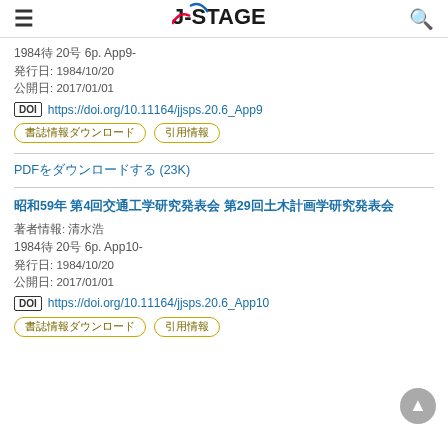J-STAGE
1984巻 20号 6p. App9-
発行日: 1984/10/20
公開日: 2017/01/01
DOI https://doi.org/10.11164/jjsps.20.6_App9
書誌情報ダウンロード 引用情報
PDFをダウンロードする (23K)
昭和59年 第4回交通工学研究発表会 第29回土木計画学研究発表会
著者情報: 清水浩
1984巻 20号 6p. App10-
発行日: 1984/10/20
公開日: 2017/01/01
DOI https://doi.org/10.11164/jjsps.20.6_App10
書誌情報ダウンロード 引用情報